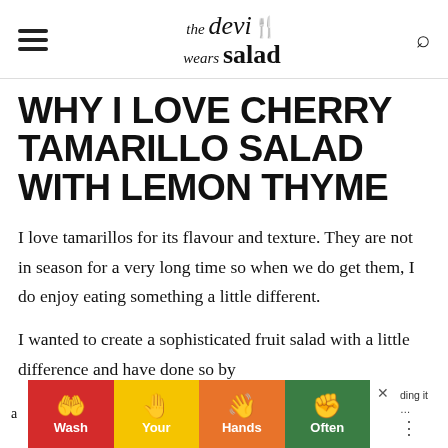the devi wears salad
WHY I LOVE CHERRY TAMARILLO SALAD WITH LEMON THYME
I love tamarillos for its flavour and texture. They are not in season for a very long time so when we do get them, I do enjoy eating something a little different.
I wanted to create a sophisticated fruit salad with a little difference and have done so by adding it o
[Figure (infographic): Wash Your Hands Often public health advertisement banner with four colored panels (red, yellow, orange, green) showing hand-washing icons and text labels.]